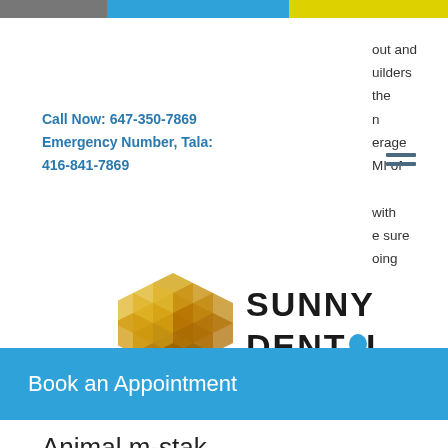[Figure (other): Top color bar with gray, blue, and yellow segments]
out and
uilders
the
n
erage
MI of
with
e sure
oing
Call Now: 647-350-7869
Emergency Number, Tala:
416-841-7869
[Figure (logo): Sunny Dental logo with golden honeycomb tooth shape on left and SUNNY DENTAL text on right]
Book an Appointment
Animal m-stak
Animal M-Stak is a daily vitamin pack formulated to support bodybuilders and powerlifters who struggle to bulk up and retain muscle mass. Designed based on research-based guidelines, this new product has over 30 new vitamins and minerals that help increase your absorption, maintain optimal nutrition, and promote long and